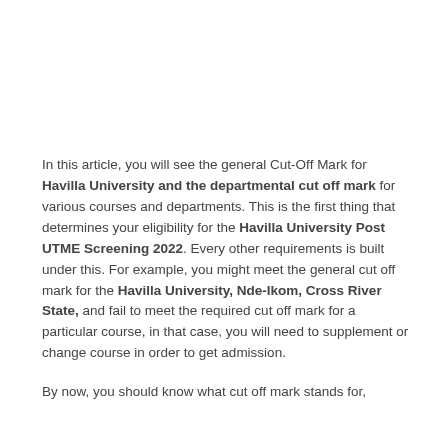In this article, you will see the general Cut-Off Mark for Havilla University and the departmental cut off mark for various courses and departments. This is the first thing that determines your eligibility for the Havilla University Post UTME Screening 2022. Every other requirements is built under this. For example, you might meet the general cut off mark for the Havilla University, Nde-Ikom, Cross River State, and fail to meet the required cut off mark for a particular course, in that case, you will need to supplement or change course in order to get admission.
By now, you should know what cut off mark stands for,